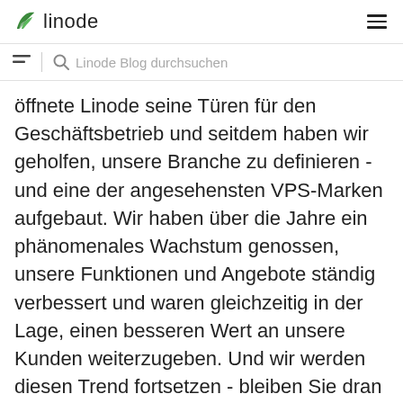linode
Linode Blog durchsuchen
öffnete Linode seine Türen für den Geschäftsbetrieb und seitdem haben wir geholfen, unsere Branche zu definieren - und eine der angesehensten VPS-Marken aufgebaut. Wir haben über die Jahre ein phänomenales Wachstum genossen, unsere Funktionen und Angebote ständig verbessert und waren gleichzeitig in der Lage, einen besseren Wert an unsere Kunden weiterzugeben. Und wir werden diesen Trend fortsetzen - bleiben Sie dran für einige spannende Ankündigungen. Auf unserer Roadmap gibt es immer wieder tolle Dinge, die auf uns zukommen.
Außerdem haben wir einige Neueinstellungen zu verkünden - bitte begrüßen Sie mit mir zwei neue Mitglieder in unserem Team: